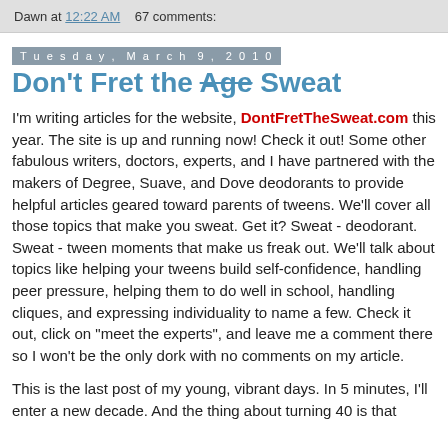Dawn at 12:22 AM    67 comments:
Tuesday, March 9, 2010
Don't Fret the Age Sweat
I'm writing articles for the website, DontFretTheSweat.com this year. The site is up and running now! Check it out! Some other fabulous writers, doctors, experts, and I have partnered with the makers of Degree, Suave, and Dove deodorants to provide helpful articles geared toward parents of tweens. We'll cover all those topics that make you sweat. Get it? Sweat - deodorant. Sweat - tween moments that make us freak out. We'll talk about topics like helping your tweens build self-confidence, handling peer pressure, helping them to do well in school, handling cliques, and expressing individuality to name a few. Check it out, click on "meet the experts", and leave me a comment there so I won't be the only dork with no comments on my article.
This is the last post of my young, vibrant days. In 5 minutes, I'll enter a new decade. And the thing about turning 40 is that